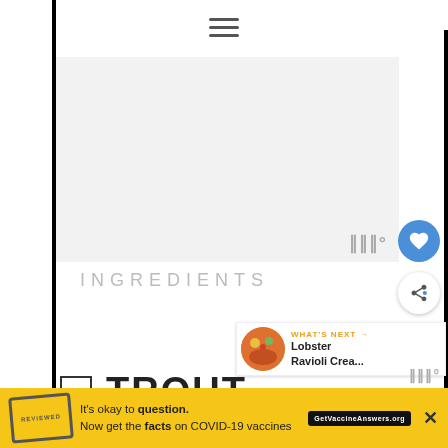[Figure (other): Hamburger/menu icon (three horizontal lines) at top center of page]
[Figure (photo): Large image placeholder area with light gray background; watermark logo 'III°' at bottom right of image]
[Figure (other): Blue circular favorite/heart button on right side]
[Figure (other): White circular share button with share icon on right side]
INGREDIENTS
[Figure (other): What's Next panel showing lobster ravioli image with text 'WHAT'S NEXT → Lobster Ravioli Crea...']
TROUT
[Figure (other): Advertisement banner: 'It's okay to question. Now get the facts on COVID-19 vaccines' with GetVaccineAnswers.org button]